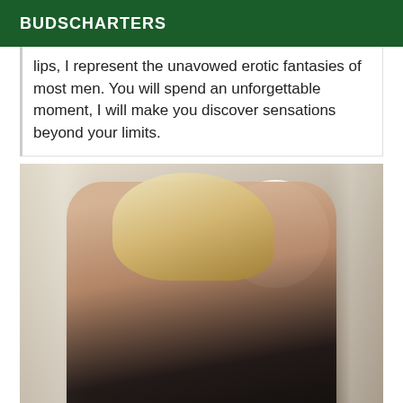BUDSCHARTERS
lips, I represent the unavowed erotic fantasies of most men. You will spend an unforgettable moment, I will make you discover sensations beyond your limits.
[Figure (photo): A person with long blonde hair wearing a black lace outfit, posing in a room with white curtains and a large circular window in the background.]